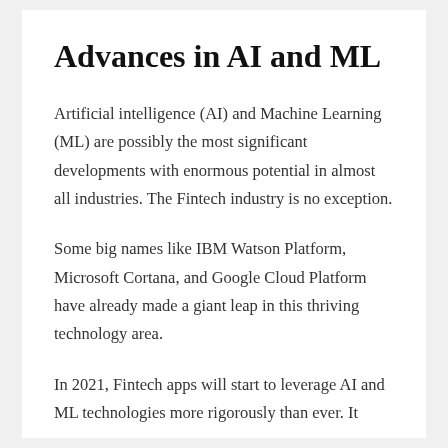Advances in AI and ML
Artificial intelligence (AI) and Machine Learning (ML) are possibly the most significant developments with enormous potential in almost all industries. The Fintech industry is no exception.
Some big names like IBM Watson Platform, Microsoft Cortana, and Google Cloud Platform have already made a giant leap in this thriving technology area.
In 2021, Fintech apps will start to leverage AI and ML technologies more rigorously than ever. It